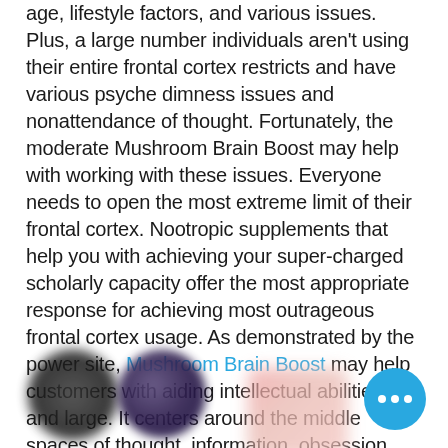age, lifestyle factors, and various issues. Plus, a large number individuals aren't using their entire frontal cortex restricts and have various psyche dimness issues and nonattendance of thought. Fortunately, the moderate Mushroom Brain Boost may help with working with these issues. Everyone needs to open the most extreme limit of their frontal cortex. Nootropic supplements that help you with achieving your super-charged scholarly capacity offer the most appropriate response for achieving most outrageous frontal cortex usage. As demonstrated by the power site, Mushroom Brain Boost may help customers with aiding intellectual abilities by and large. It centers around the middle spaces of thought, information, obsession, memory, and motivation. Concentrate on this nootropic frontal cortex supplement here.
[Figure (photo): Bottom portion of page showing blurred/obscured images of what appear to be product or person photos, with a cyan/blue circular chat button with three dots in the bottom right corner.]